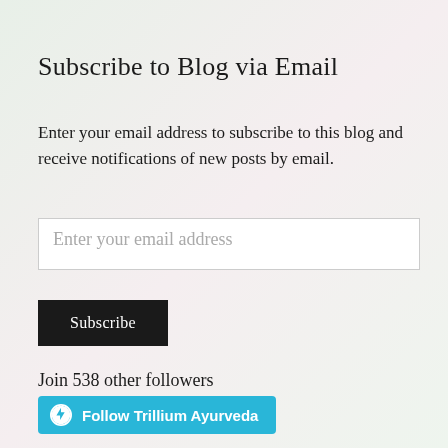Subscribe to Blog via Email
Enter your email address to subscribe to this blog and receive notifications of new posts by email.
Enter your email address
Subscribe
Join 538 other followers
Follow Trillium Ayurveda